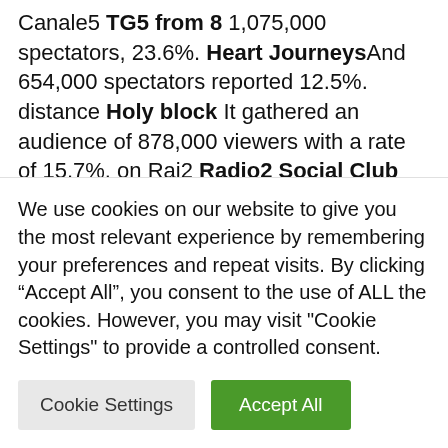Canale5 TG5 from 8 1,075,000 spectators, 23.6%. Heart JourneysAnd 654,000 spectators reported 12.5%. distance Holy block It gathered an audience of 878,000 viewers with a rate of 15.7%. on Rai2 Radio2 Social Club The holding company for 260,000 spectators (4.9%). About Italy 1 mother as a friend 160,000 spectators 3.1% and 202,000 spectators 3.6%. On irrigation 3 – from 6.30 to 8 – Rai news
We use cookies on our website to give you the most relevant experience by remembering your preferences and repeat visits. By clicking “Accept All”, you consent to the use of ALL the cookies. However, you may visit "Cookie Settings" to provide a controlled consent.